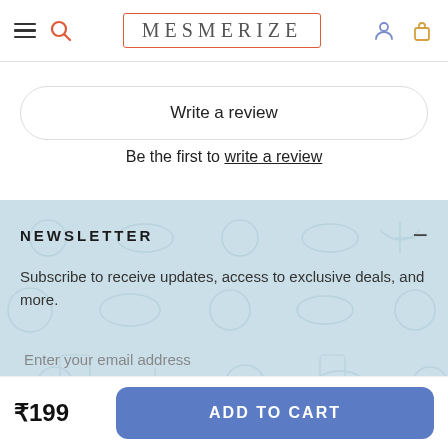MESMERIZE
Write a review
Be the first to write a review
NEWSLETTER
Subscribe to receive updates, access to exclusive deals, and more.
Enter your email address
₹199
ADD TO CART